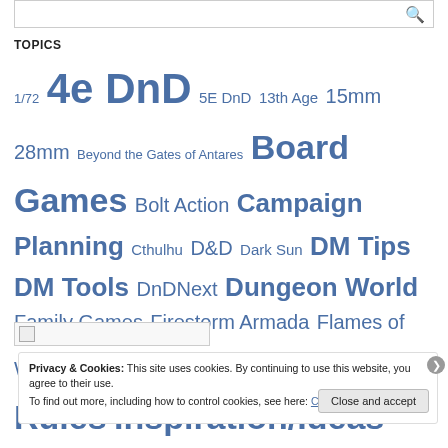TOPICS
1/72 4e DnD 5E DnD 13th Age 15mm 28mm Beyond the Gates of Antares Board Games Bolt Action Campaign Planning Cthulhu D&D Dark Sun DM Tips DM Tools DnDNext Dungeon World Family Games Firestorm Armada Flames of War Frostgrave Gamma World House Rules Inspiration/Ideas Miniatures Netrunner News Off topic Painting Pathfinder Review RPGs SAGA Saturday Spark Savage Worlds Terrain Traveller Uncategorized Video Games Wargames
[Figure (other): Small broken image placeholder icon]
Privacy & Cookies: This site uses cookies. By continuing to use this website, you agree to their use. To find out more, including how to control cookies, see here: Cookie Policy
Close and accept